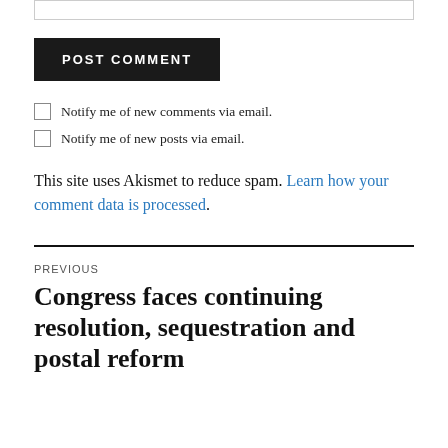POST COMMENT
Notify me of new comments via email.
Notify me of new posts via email.
This site uses Akismet to reduce spam. Learn how your comment data is processed.
PREVIOUS
Congress faces continuing resolution, sequestration and postal reform